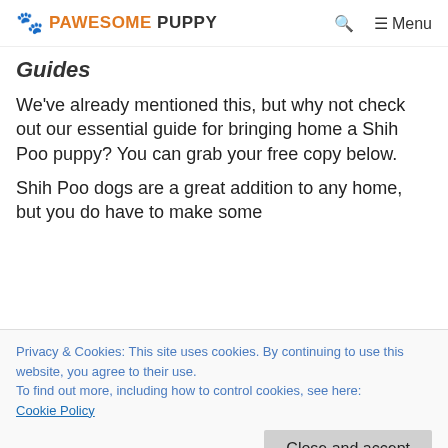PAWESOME PUPPY — Menu
Guides
We've already mentioned this, but why not check out our essential guide for bringing home a Shih Poo puppy? You can grab your free copy below.
Shih Poo dogs are a great addition to any home, but you do have to make some
Privacy & Cookies: This site uses cookies. By continuing to use this website, you agree to their use.
To find out more, including how to control cookies, see here:
Cookie Policy
Close and accept
We hope you've found this a helpful guide on how to find Shih Poo puppies for sale in